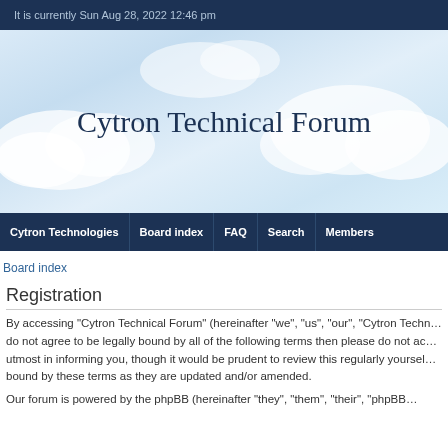It is currently Sun Aug 28, 2022 12:46 pm
Cytron Technical Forum
Cytron Technologies | Board index | FAQ | Search | Members
Board index
Registration
By accessing “Cytron Technical Forum” (hereinafter “we”, “us”, “our”, “Cytron Techn… do not agree to be legally bound by all of the following terms then please do not ac… utmost in informing you, though it would be prudent to review this regularly yoursel… bound by these terms as they are updated and/or amended.
Our forum is powered by the phpBB (hereinafter “they”, “them”, “their”, “phpBB…